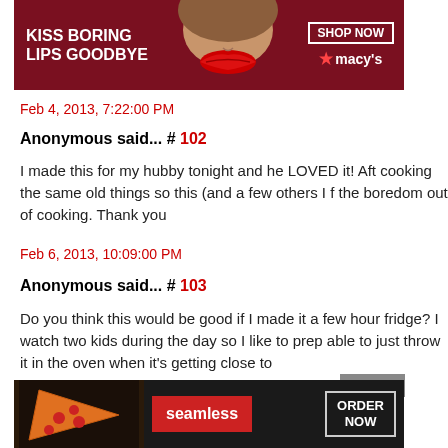[Figure (photo): Macy's advertisement banner: 'KISS BORING LIPS GOODBYE' with image of woman's lips in red lipstick, SHOP NOW button, and Macy's star logo]
Feb 4, 2013, 7:22:00 PM
Anonymous said... # 102
I made this for my hubby tonight and he LOVED it! Aft cooking the same old things so this (and a few others I f the boredom out of cooking. Thank you
Feb 6, 2013, 10:09:00 PM
Anonymous said... # 103
Do you think this would be good if I made it a few hour fridge? I watch two kids during the day so I like to prep able to just throw it in the oven when it's getting close to
Feb 8, 2013, 1:32:00 PM
[Figure (photo): Seamless food delivery advertisement with pizza image, Seamless logo button, and ORDER NOW button, with CLOSE button overlay]